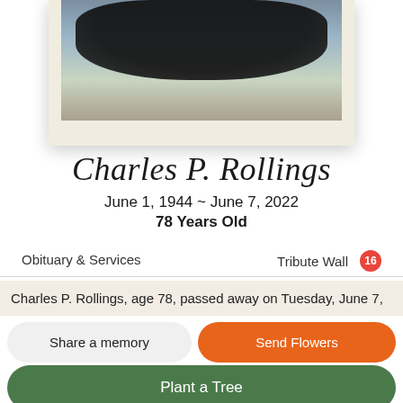[Figure (photo): Partial photo of a person with a black cat, shown from the waist down, with a cream/beige photo frame border]
Charles P. Rollings
June 1, 1944 ~ June 7, 2022
78 Years Old
Obituary & Services
Tribute Wall 16
Charles P. Rollings, age 78, passed away on Tuesday, June 7,
Share a memory
Send Flowers
Plant a Tree